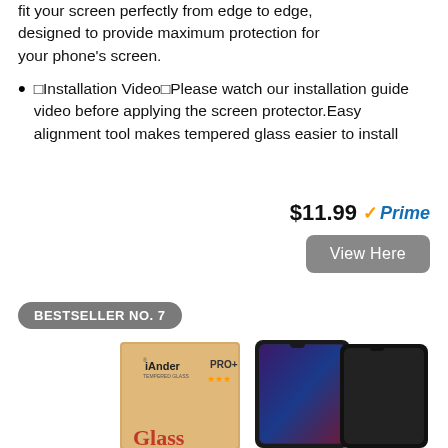fit your screen perfectly from edge to edge, designed to provide maximum protection for your phone's screen.
📦Installation Video📦Please watch our installation guide video before applying the screen protector.Easy alignment tool makes tempered glass easier to install
$11.99 Prime
View Here
BESTSELLER NO. 7
[Figure (photo): Product photo showing iAnder PRO tempered glass screen protectors for Samsung Galaxy Note 9, with packaging and two glass protectors visible]